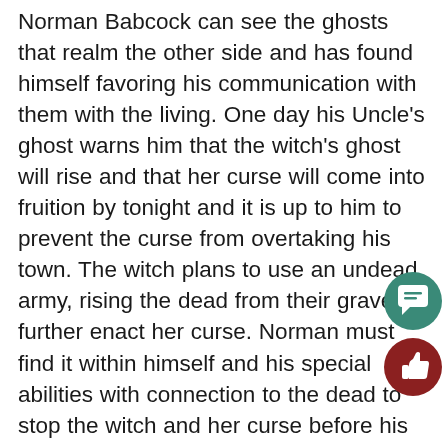Norman Babcock can see the ghosts that realm the other side and has found himself favoring his communication with them with the living. One day his Uncle's ghost warns him that the witch's ghost will rise and that her curse will come into fruition by tonight and it is up to him to prevent the curse from overtaking his town. The witch plans to use an undead army, rising the dead from their graves to further enact her curse. Norman must find it within himself and his special abilities with connection to the dead to stop the witch and her curse before his town and the people he loves are gone forever. This one shouldn't be missed, especially if you haven't given it a watch yet. The story keeps you captivated the entire time and there are plenty of great one-liners from the side characters help Norman. One of many aspects about the movie that I love is the ending, which can either make or break a movie for me. While it may be an animated
[Figure (illustration): Teal/green circle icon with white speech bubble / comment symbol]
[Figure (illustration): Dark red/maroon circle icon with white thumbs-up symbol]